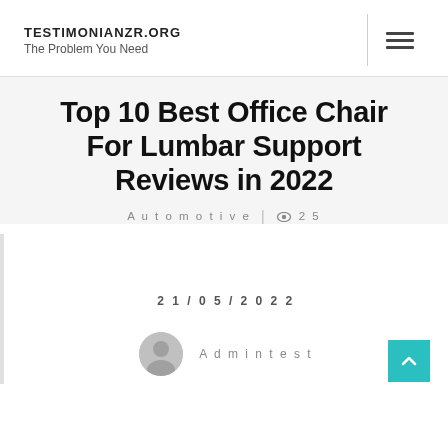TESTIMONIANZR.ORG The Problem You Need
Top 10 Best Office Chair For Lumbar Support Reviews in 2022
Automotive | 25
21/05/2022
Admintest